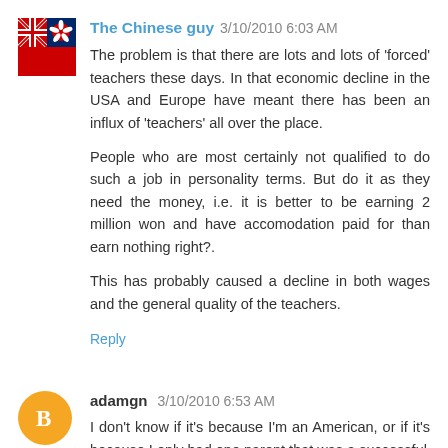[Figure (illustration): Hong Kong flag avatar image for user 'The Chinese guy']
The Chinese guy 3/10/2010 6:03 AM
The problem is that there are lots and lots of 'forced' teachers these days. In that economic decline in the USA and Europe have meant there has been an influx of 'teachers' all over the place.
People who are most certainly not qualified to do such a job in personality terms. But do it as they need the money, i.e. it is better to be earning 2 million won and have accomodation paid for than earn nothing right?.
This has probably caused a decline in both wages and the general quality of the teachers.
Reply
[Figure (illustration): Orange circle blogger avatar for user 'adamgn']
adamgn 3/10/2010 6:53 AM
I don't know if it's because I'm an American, or if it's because I only had one parent that was a successful